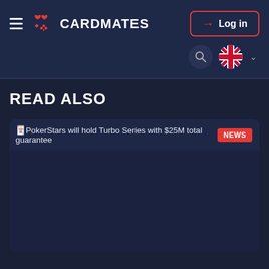CARDMATES — Log in
READ ALSO
🃏PokerStars will hold Turbo Series with $25M total guarantee NEWS